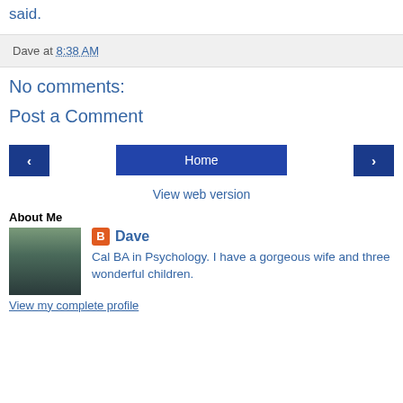recognition, route diversion, 3G on, and 3G term, 'Autora' said.
Dave at 8:38 AM
No comments:
Post a Comment
‹  Home  ›
View web version
About Me
[Figure (photo): Profile photo of Dave]
Dave
Cal BA in Psychology. I have a gorgeous wife and three wonderful children.
View my complete profile